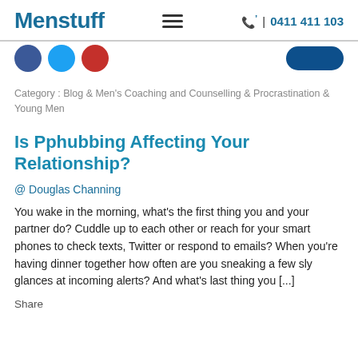Menstuff  ☰  0411 411 103
[Figure (other): Social media icon circles strip: Facebook blue, Twitter blue, YouTube red, LinkedIn navy button on right]
Category : Blog & Men's Coaching and Counselling & Procrastination & Young Men
Is Pphubbing Affecting Your Relationship?
@ Douglas Channing
You wake in the morning, what's the first thing you and your partner do? Cuddle up to each other or reach for your smart phones to check texts, Twitter or respond to emails? When you're having dinner together how often are you sneaking a few sly glances at incoming alerts? And what's last thing you [...]
Share